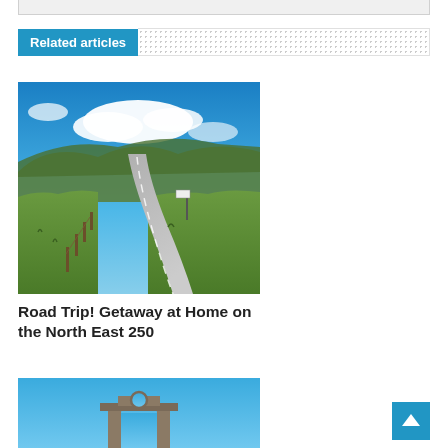Related articles
[Figure (photo): A winding rural road through green Scottish highlands under a blue sky with white clouds]
Road Trip! Getaway at Home on the North East 250
[Figure (photo): Partially visible image showing a stone architectural feature against a blue sky]